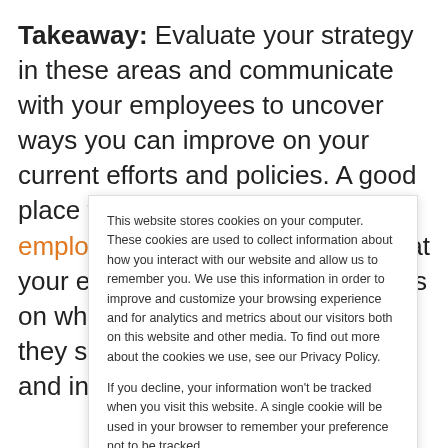Takeaway: Evaluate your strategy in these areas and communicate with your employees to uncover ways you can improve on your current efforts and policies. A good place to start is by forming an employee focus group to learn what your employees think and get ideas on what changes or opportunities they see in your current diversity and inclusion plans.
This website stores cookies on your computer. These cookies are used to collect information about how you interact with our website and allow us to remember you. We use this information in order to improve and customize your browsing experience and for analytics and metrics about our visitors both on this website and other media. To find out more about the cookies we use, see our Privacy Policy.

If you decline, your information won't be tracked when you visit this website. A single cookie will be used in your browser to remember your preference not to be tracked.